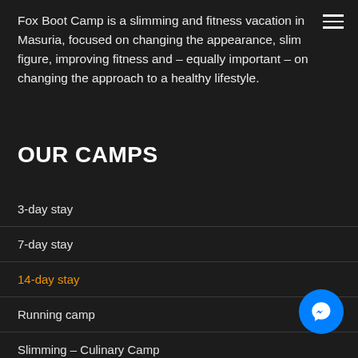Fox Boot Camp is a slimming and fitness vacation in Masuria, focused on changing the appearance, slim figure, improving fitness and – equally important – on changing the approach to a healthy lifestyle.
OUR CAMPS
3-day stay
7-day stay
14-day stay
Running camp
Slimming – Culinary Camp
Preparation for the Runmageddon